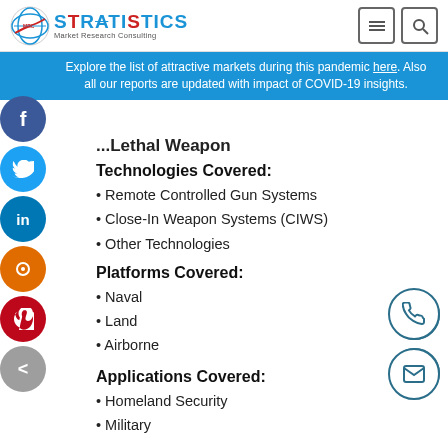Stratistics Market Research Consulting
Explore the list of attractive markets during this pandemic here. Also all our reports are updated with impact of COVID-19 insights.
...Lethal Weapon
Technologies Covered:
• Remote Controlled Gun Systems
• Close-In Weapon Systems (CIWS)
• Other Technologies
Platforms Covered:
• Naval
• Land
• Airborne
Applications Covered:
• Homeland Security
• Military